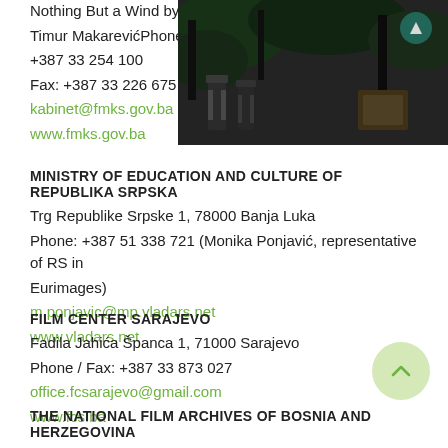Nothing But a Wind by Timur MakarevićPhone: +387 33 254 100
Fax: +387 33 226 675
kabinet@fmks.gov.ba
www.fmks.gov.ba
[Figure (photo): A dark outdoor scene with chairs and film equipment visible in the background]
MINISTRY OF EDUCATION AND CULTURE OF REPUBLIKA SRPSKA
Trg Republike Srpske 1, 78000 Banja Luka
Phone: +387 51 338 721 (Monika Ponjavić, representative of RS in Eurimages)
m.ponjavic@mp.vladars.net
www.vladars.net
FILM CENTER SARAJEVO
Fadila Jahića Španca 1, 71000 Sarajevo
Phone / Fax: +387 33 873 027
office.fcsarajevo@gmail.com
www.fcs.ba
THE NATIONAL FILM ARCHIVES OF BOSNIA AND HERZEGOVINA